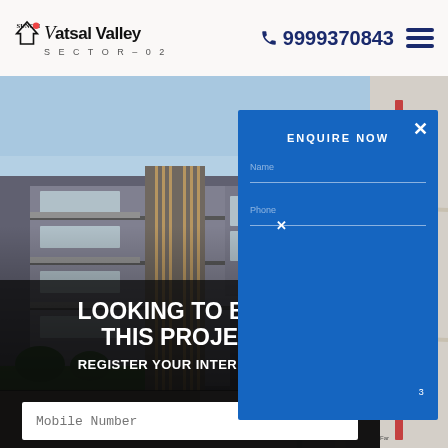Suncity Vatsal Valley SECTOR-02 | 9999370843
[Figure (photo): Building exterior photo of Suncity Vatsal Valley residential project with modern architecture, balconies and vertical decorative elements]
[Figure (map): Street map showing the location of Suncity Vatsal Valley near Badarpur area]
ENQUIRE NOW
LOOKING TO BUY IN THIS PROJECT?
REGISTER YOUR INTEREST HERE
Mobile Number
BOOK NOW